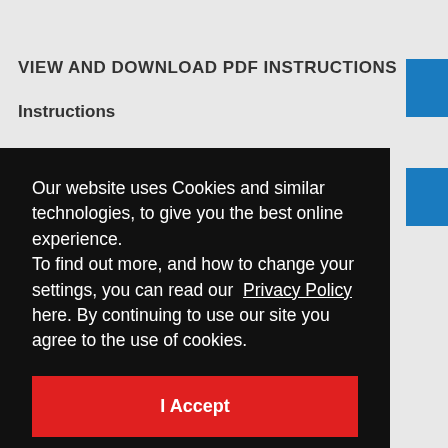VIEW AND DOWNLOAD PDF INSTRUCTIONS
Instructions
Our website uses Cookies and similar technologies, to give you the best online experience.
To find out more, and how to change your settings, you can read our Privacy Policy here. By continuing to use our site you agree to the use of cookies.
I Accept